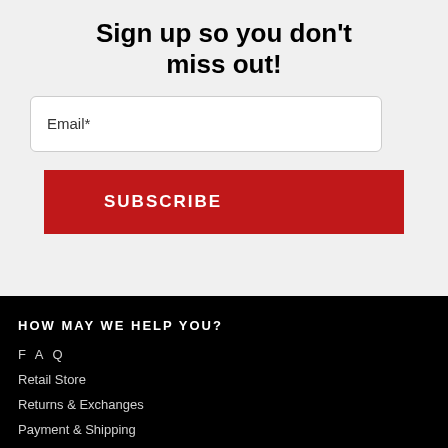Sign up so you don't miss out!
Email*
SUBSCRIBE
HOW MAY WE HELP YOU?
FAQ
Retail Store
Returns & Exchanges
Payment & Shipping